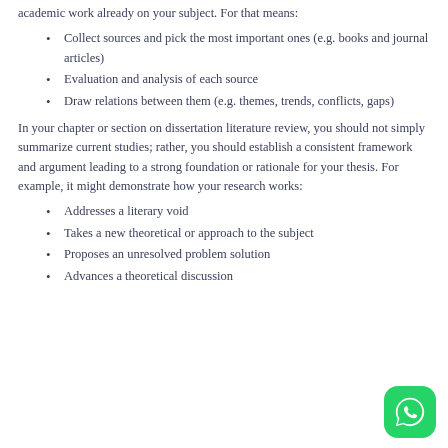academic work already on your subject. For that means:
Collect sources and pick the most important ones (e.g. books and journal articles)
Evaluation and analysis of each source
Draw relations between them (e.g. themes, trends, conflicts, gaps)
In your chapter or section on dissertation literature review, you should not simply summarize current studies; rather, you should establish a consistent framework and argument leading to a strong foundation or rationale for your thesis. For example, it might demonstrate how your research works:
Addresses a literary void
Takes a new theoretical or approach to the subject
Proposes an unresolved problem solution
Advances a theoretical discussion